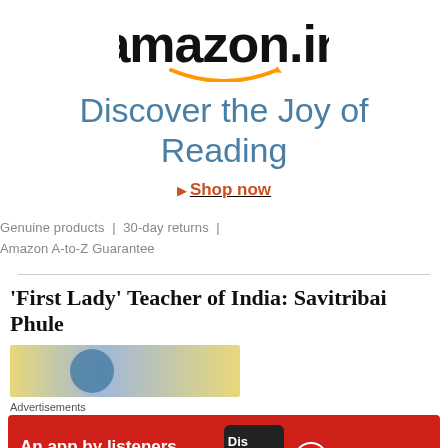[Figure (logo): Amazon.in logo with orange smile arrow]
Discover the Joy of Reading
▶ Shop now
Genuine products  |  30-day returns  |  Amazon A-to-Z Guarantee
'First Lady' Teacher of India: Savitribai Phule
[Figure (photo): Partial article image with blue and yellow tones]
Advertisements
[Figure (infographic): Pocket Casts red advertisement banner: An app by listeners, for listeners.]